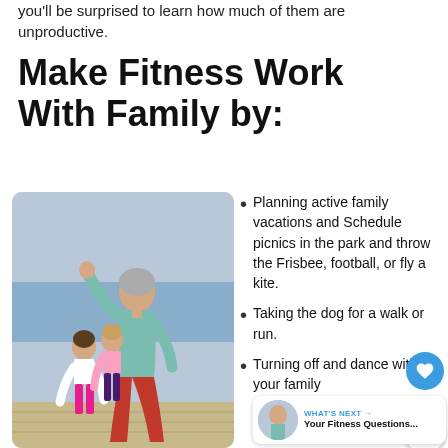you'll be surprised to learn how much of them are unproductive.
Make Fitness Work With Family by:
[Figure (photo): Women and children doing outdoor fitness exercises on a beach boardwalk, led by an older woman in a teal top and red pants with arms raised.]
Planning active family vacations and Schedule picnics in the park and throw the Frisbee, football, or fly a kite.
Taking the dog for a walk or run.
Turning off and dance with your family